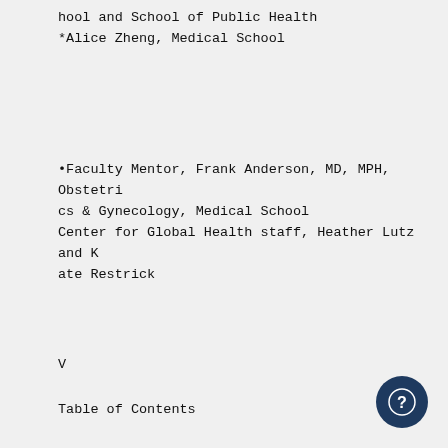hool and School of Public Health
*Alice Zheng, Medical School
•Faculty Mentor, Frank Anderson, MD, MPH, Obstetrics & Gynecology, Medical School
Center for Global Health staff, Heather Lutz and Kate Restrick
V
Table of Contents